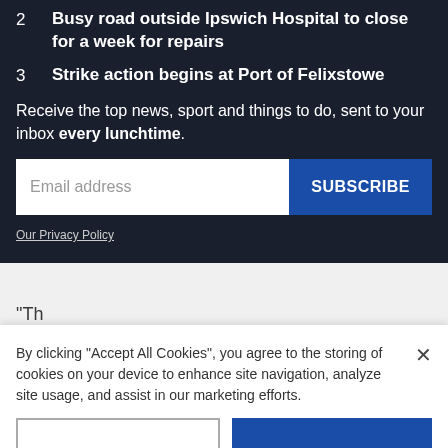2  Busy road outside Ipswich Hospital to close for a week for repairs
3  Strike action begins at Port of Felixstowe
Receive the top news, sport and things to do, sent to your inbox every lunchtime.
Email address
SUBSCRIBE
Our Privacy Policy
"Th...
By clicking "Accept All Cookies", you agree to the storing of cookies on your device to enhance site navigation, analyze site usage, and assist in our marketing efforts.
×